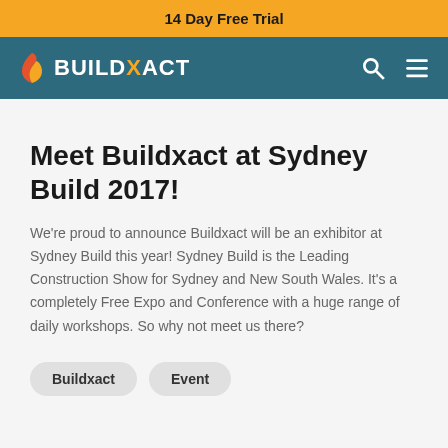14 Day Free Trial
[Figure (logo): Buildxact logo with flame icon on teal navigation bar with search and menu icons]
Meet Buildxact at Sydney Build 2017!
We're proud to announce Buildxact will be an exhibitor at Sydney Build this year! Sydney Build is the Leading Construction Show for Sydney and New South Wales. It's a completely Free Expo and Conference with a huge range of daily workshops. So why not meet us there?
Buildxact
Event